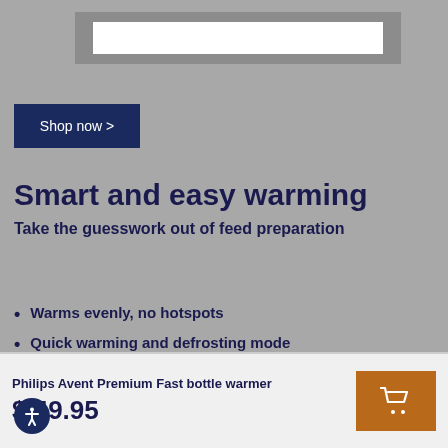[Figure (screenshot): Search bar input field with grey border background]
Shop now >
Smart and easy warming
Take the guesswork out of feed preparation
Warms evenly, no hotspots
Quick warming and defrosting mode
Suitable for milk and baby food
Philips Avent Premium Fast bottle warmer
$ 49.95